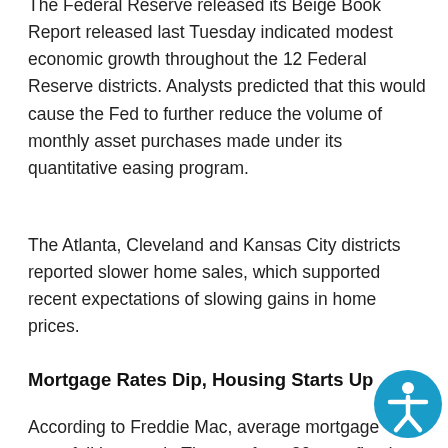The Federal Reserve released its Beige Book Report released last Tuesday indicated modest economic growth throughout the 12 Federal Reserve districts. Analysts predicted that this would cause the Fed to further reduce the volume of monthly asset purchases made under its quantitative easing program.
The Atlanta, Cleveland and Kansas City districts reported slower home sales, which supported recent expectations of slowing gains in home prices.
Mortgage Rates Dip, Housing Starts Up
According to Freddie Mac, average mortgage rates fell last week. The rate for a 30-year fixed rate mortgage dropped from 4.51 to 4.41 percent
[Figure (illustration): Blue circular accessibility icon with a stylized human figure in white, located in the bottom-right corner of the page.]